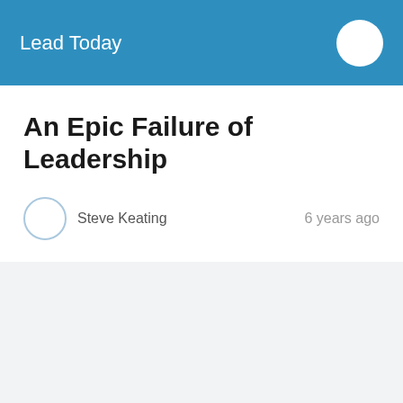Lead Today
An Epic Failure of Leadership
Steve Keating   6 years ago